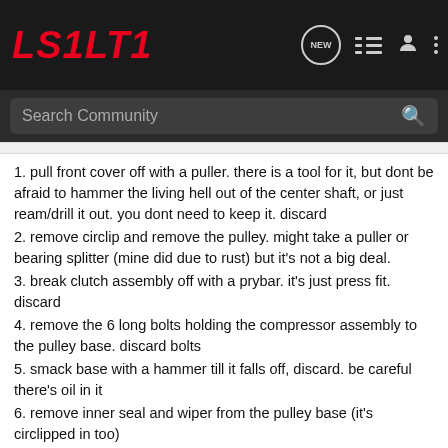LS1LT1
1. pull front cover off with a puller. there is a tool for it, but dont be afraid to hammer the living hell out of the center shaft, or just ream/drill it out. you dont need to keep it. discard
2. remove circlip and remove the pulley. might take a puller or bearing splitter (mine did due to rust) but it's not a big deal.
3. break clutch assembly off with a prybar. it's just press fit. discard
4. remove the 6 long bolts holding the compressor assembly to the pulley base. discard bolts
5. smack base with a hammer till it falls off, discard. be careful there's oil in it
6. remove inner seal and wiper from the pulley base (it's circlipped in too)
7. replace the pulley and circlip